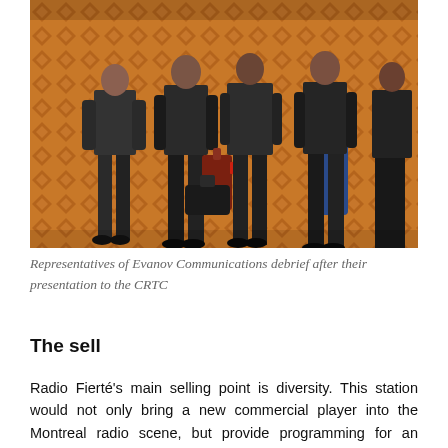[Figure (photo): Photo of Representatives of Evanov Communications debriefing after their presentation to the CRTC. Several people standing in a hotel lobby or conference area with luggage, on an ornate patterned carpet.]
Representatives of Evanov Communications debrief after their presentation to the CRTC
The sell
Radio Fierté's main selling point is diversity. This station would not only bring a new commercial player into the Montreal radio scene, but provide programming for an audience that isn't served currently.
The station would be about 50-50 music and talk, which is more than the Toronto station because the Montreal one would be...